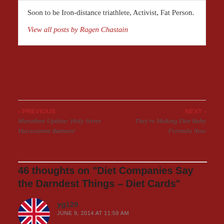Soon to be Iron-distance triathlete, Activist, Fat Person.
View all posts by Ragen Chastain
‹ PREVIOUS Marathon Update: Holy Street Harassment Batman!
NEXT › They're Making Diet Baby Formula Now
46 thoughts on “Diet Companies Say the Darndest Things – Diet Cards”
yg129
JUNE 9, 2014 AT 11:59 AM